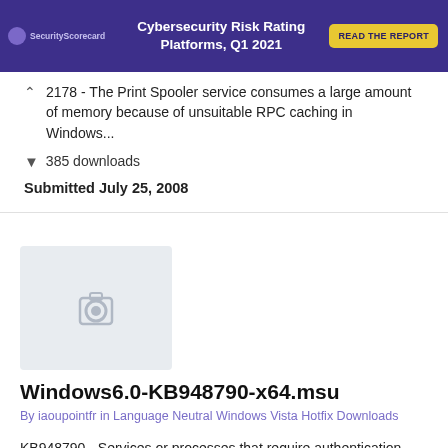[Figure (screenshot): SecurityScorecard banner ad for Cybersecurity Risk Rating Platforms, Q1 2021 with a yellow READ THE REPORT button on a dark purple background]
2178 - The Print Spooler service consumes a large amount of memory because of unsuitable RPC caching in Windows...
385 downloads
Submitted July 25, 2008
[Figure (photo): Placeholder image thumbnail with a camera icon on a light grey background]
Windows6.0-KB948790-x64.msu
By iaoupointfr in Language Neutral Windows Vista Hotfix Downloads
KB948790 - Services or processes that require authentication may stop responding because of a deadlock condition in the...